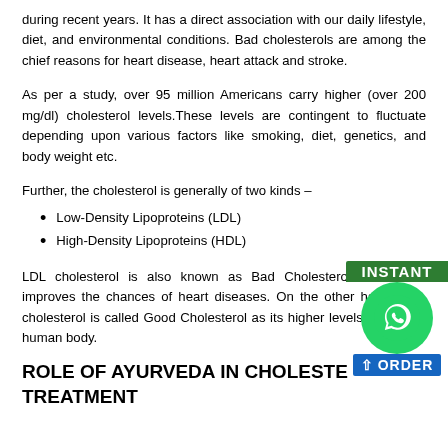during recent years. It has a direct association with our daily lifestyle, diet, and environmental conditions. Bad cholesterols are among the chief reasons for heart disease, heart attack and stroke.
As per a study, over 95 million Americans carry higher (over 200 mg/dl) cholesterol levels.These levels are contingent to fluctuate depending upon various factors like smoking, diet, genetics, and body weight etc.
Further, the cholesterol is generally of two kinds –
Low-Density Lipoproteins (LDL)
High-Density Lipoproteins (HDL)
LDL cholesterol is also known as Bad Cholesterol because it improves the chances of heart diseases. On the other hand, HDL cholesterol is called Good Cholesterol as its higher levels protect the human body.
ROLE OF AYURVEDA IN CHOLESTEROL TREATMENT